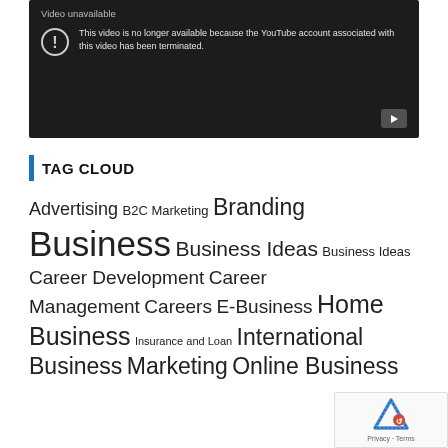[Figure (screenshot): YouTube video unavailable error screen with dark background. Shows 'Video unavailable' title, exclamation icon, and message: 'This video is no longer available because the YouTube account associated with this video has been terminated.' YouTube play button in bottom right corner.]
TAG CLOUD
Advertising B2C Marketing Branding Business Business Ideas Business Ideas Career Development Career Management Careers E-Business Home Business Insurance and Loan International Business Marketing Online Business